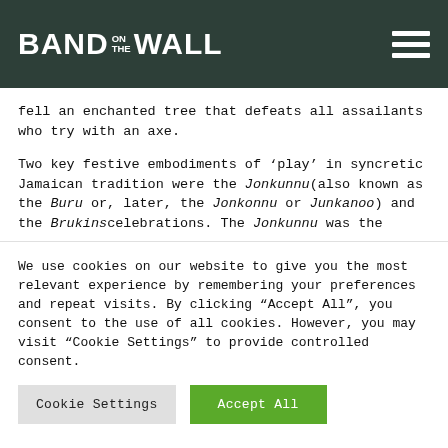BAND ON THE WALL
fell an enchanted tree that defeats all assailants who try with an axe.

Two key festive embodiments of ‘play’ in syncretic Jamaican tradition were the Jonkunnu (also known as the Buru or, later, the Jonkonnu or Junkanoo) and the Brukinscelebrations. The Jonkunnu was the
We use cookies on our website to give you the most relevant experience by remembering your preferences and repeat visits. By clicking “Accept All”, you consent to the use of all cookies. However, you may visit “Cookie Settings” to provide controlled consent.